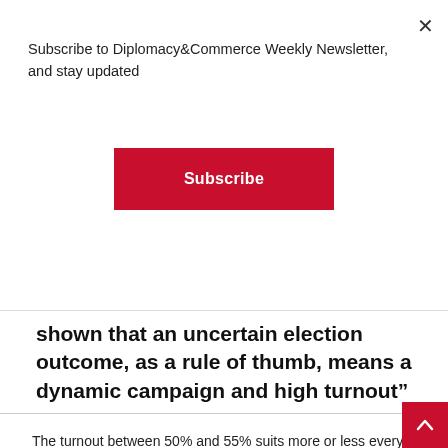Subscribe to Diplomacy&Commerce Weekly Newsletter, and stay updated
Subscribe
shown that an uncertain election outcome, as a rule of thumb, means a dynamic campaign and high turnout”
The turnout between 50% and 55% suits more or less every party that will participate in the election. For the SNS, it means that the election boycott failed, i.e. that the legitimacy of the future government will not be questioned, and for the parties that have decided against the boycott, this means that they have a chance of go over the electoral threshold as they would have a hard time succeeding in that plan if the turnout jumped sharply.